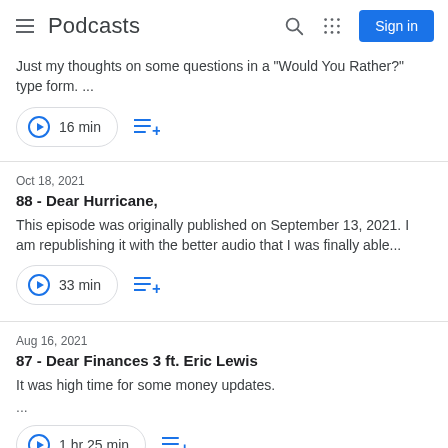Podcasts
Just my thoughts on some questions in a "Would You Rather?" type form. ...
16 min
Oct 18, 2021
88 - Dear Hurricane,
This episode was originally published on September 13, 2021. I am republishing it with the better audio that I was finally able...
33 min
Aug 16, 2021
87 - Dear Finances 3 ft. Eric Lewis
It was high time for some money updates.

...
1 hr 25 min